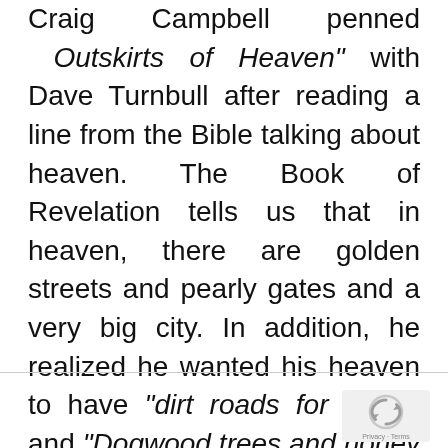Craig Campbell penned Outskirts of Heaven" with Dave Turnbull after reading a line from the Bible talking about heaven. The Book of Revelation tells us that in heaven, there are golden streets and pearly gates and a very big city. In addition, he realized he wanted his heaven to have "dirt roads for miles" and "Dogwood trees and honey bees" instead of what was assured in the Scripture.
[Figure (other): reCAPTCHA logo and Privacy + Terms label in bottom right corner]